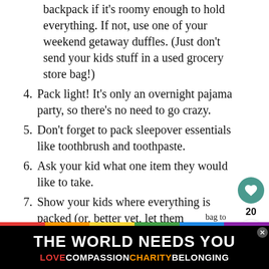(continuation) backpack if it's roomy enough to hold everything. If not, use one of your weekend getaway duffles. (Just don't send your kids stuff in a used grocery store bag!)
4. Pack light! It's only an overnight pajama party, so there's no need to go crazy.
5. Don't forget to pack sleepover essentials like toothbrush and toothpaste.
6. Ask your kid what one item they would like to take.
7. Show your kids where everything is packed (or, better yet, let them…
WHAT'S NEXT → Fun Things To
THE WORLD NEEDS YOU
LOVE COMPASSION CHARITY BELONGING